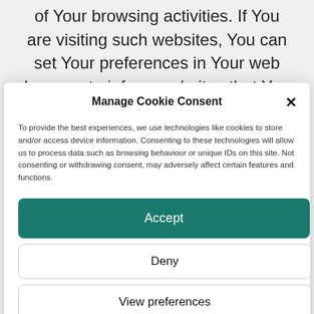of Your browsing activities. If You are visiting such websites, You can set Your preferences in Your web browser to inform websites that You do not want to
Manage Cookie Consent
To provide the best experiences, we use technologies like cookies to store and/or access device information. Consenting to these technologies will allow us to process data such as browsing behaviour or unique IDs on this site. Not consenting or withdrawing consent, may adversely affect certain features and functions.
Accept
Deny
View preferences
Cookie Policy   Williams Stress Management – Privacy Policy